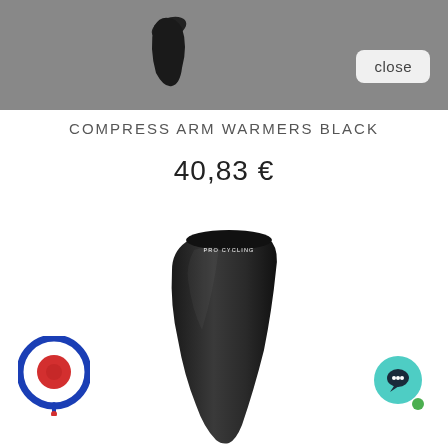[Figure (screenshot): Dark grey modal top bar with a small black arm warmer thumbnail in the upper center and a close button on the right]
COMPRESS ARM WARMERS BLACK
40,83 €
[Figure (photo): Black cycling arm warmer with PRO CYCLING text near the top, shown vertically on white background]
[Figure (logo): Round logo with concentric blue and red rings and a red pin at bottom center]
[Figure (other): Teal circular chat bubble button with dark speech bubble icon and green dot indicator]